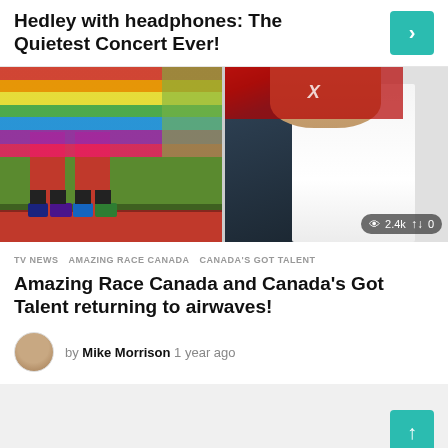Hedley with headphones: The Quietest Concert Ever!
[Figure (photo): Two people in colorful rainbow costumes with red leggings and colorful shoes on a red mat outdoors]
[Figure (photo): Man in dark suit and white shirt, X Factor logo in background, with stats overlay showing 2.4k views and 0 shares]
TV NEWS   AMAZING RACE CANADA   CANADA'S GOT TALENT
Amazing Race Canada and Canada's Got Talent returning to airwaves!
by Mike Morrison 1 year ago